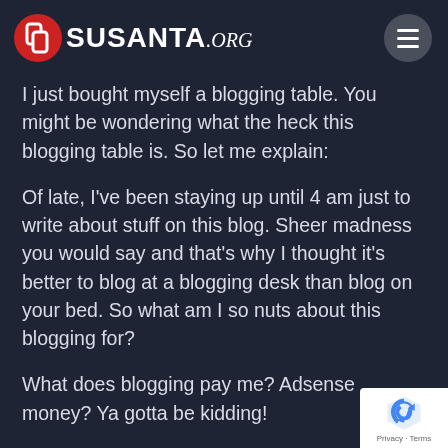SUSANTA.org
I just bought myself a blogging table. You might be wondering what the heck this blogging table is. So let me explain:
Of late, I've been staying up until 4 am just to write about stuff on this blog. Sheer madness you would say and that's why I thought it's better to blog at a blogging desk than blog on your bed. So what am I so nuts about this blogging for?
What does blogging pay me? Adsense money? Ya gotta be kidding!